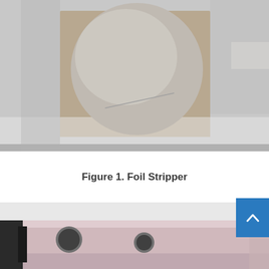[Figure (photo): Close-up photo of a foil stripper component — a thin circular metallic or translucent disc mounted on a grey/beige square backing plate, viewed from above on a light background.]
Figure 1. Foil Stripper
[Figure (photo): Partial photo of a metallic circular ring/flange component with bolt holes, sitting on a textured grey metallic surface. The component appears to be a precision-machined aluminium or steel ring used in a particle accelerator or similar engineering application.]